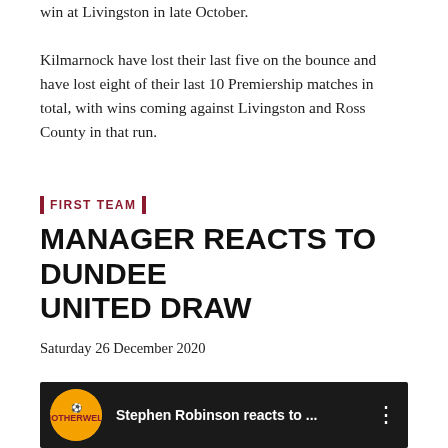win at Livingston in late October.
Kilmarnock have lost their last five on the bounce and have lost eight of their last 10 Premiership matches in total, with wins coming against Livingston and Ross County in that run.
FIRST TEAM
MANAGER REACTS TO DUNDEE UNITED DRAW
Saturday 26 December 2020
[Figure (screenshot): YouTube video thumbnail showing Stephen Robinson with text 'Stephen Robinson reacts to ...' and a Motherwell FC logo]